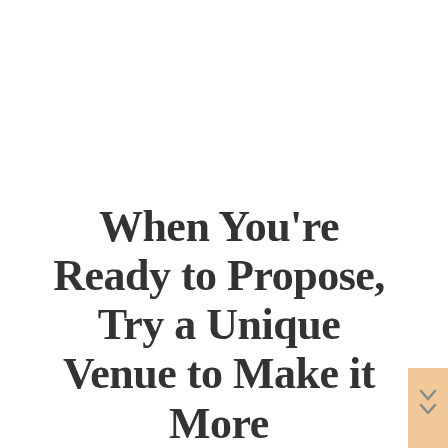When You're Ready to Propose, Try a Unique Venue to Make it More